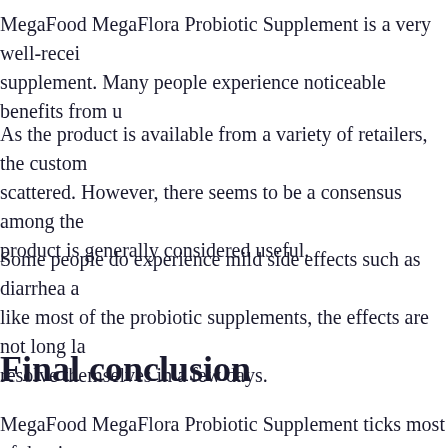MegaFood MegaFlora Probiotic Supplement is a very well-received supplement. Many people experience noticeable benefits from u
As the product is available from a variety of retailers, the customer reviews are scattered. However, there seems to be a consensus among the product is generally considered useful.
Some people do experience mild side effects such as diarrhea and like most of the probiotic supplements, the effects are not long lasting and resolve themselves in a few days.
Final conclusion
MegaFood MegaFlora Probiotic Supplement ticks most of the right strains that are shown to provide significant benefits for gastrointestinal concentration is also right, and the capsules are allergen-free and